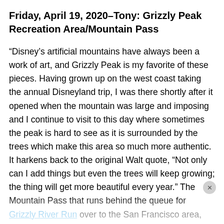Friday, April 19, 2020–Tony: Grizzly Peak Recreation Area/Mountain Pass
“Disney’s artificial mountains have always been a work of art, and Grizzly Peak is my favorite of these pieces. Having grown up on the west coast taking the annual Disneyland trip, I was there shortly after it opened when the mountain was large and imposing and I continue to visit to this day where sometimes the peak is hard to see as it is surrounded by the trees which make this area so much more authentic. It harkens back to the original Walt quote, “Not only can I add things but even the trees will keep growing; the thing will get more beautiful every year.” The Mountain Pass that runs behind the queue for Grizzly River Run over to the San Francisco area, with the abundance of trees (becoming quite rare in the parks, sadly), all the